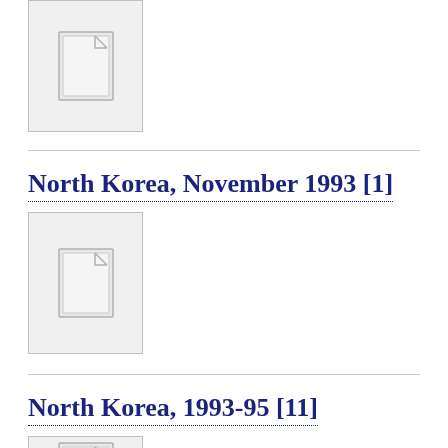[Figure (other): Document thumbnail placeholder icon at top of page]
North Korea, November 1993 [1]
[Figure (other): Document thumbnail placeholder icon for North Korea November 1993]
North Korea, 1993-95 [11]
[Figure (other): Document thumbnail placeholder icon for North Korea 1993-95 (partially visible)]